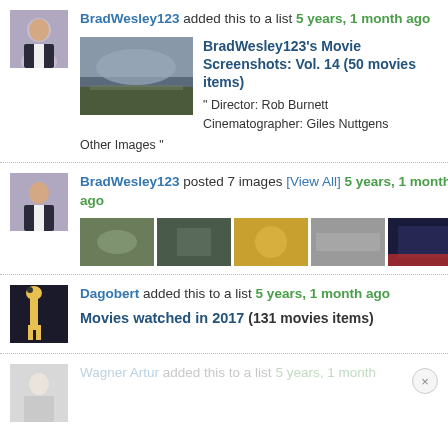BradWesley123 added this to a list 5 years, 1 month ago — BradWesley123's Movie Screenshots: Vol. 14 (50 movies items) " Director: Rob Burnett Cinematographer: Giles Nuttgens Other Images "
BradWesley123 posted 7 images [View All] 5 years, 1 month ago
Dagobert added this to a list 5 years, 1 month ago — Movies watched in 2017 (131 movies items)
Wagner Artur added this to a list 5 years, 1 month